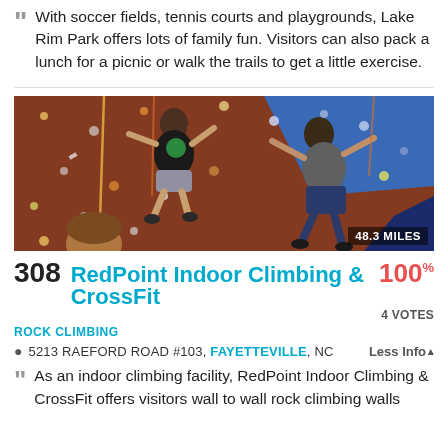With soccer fields, tennis courts and playgrounds, Lake Rim Park offers lots of family fun. Visitors can also pack a lunch for a picnic or walk the trails to get a little exercise.
[Figure (photo): Two people rock climbing on an indoor climbing wall with colorful holds. A third person's head is visible at the bottom. Distance badge shows 48.3 MILES.]
308 RedPoint Indoor Climbing & CrossFit 100% 4 VOTES
ROCK CLIMBING
5213 RAEFORD ROAD #103, FAYETTEVILLE, NC   Less Info
As an indoor climbing facility, RedPoint Indoor Climbing & CrossFit offers visitors wall to wall rock climbing walls